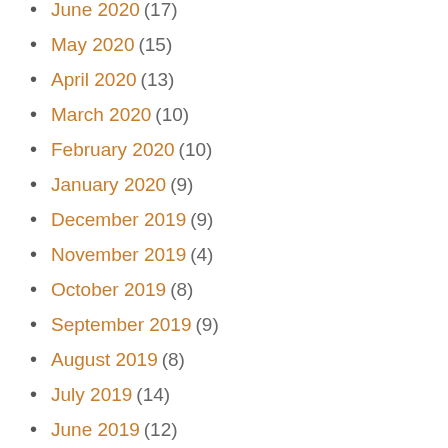June 2020 (17)
May 2020 (15)
April 2020 (13)
March 2020 (10)
February 2020 (10)
January 2020 (9)
December 2019 (9)
November 2019 (4)
October 2019 (8)
September 2019 (9)
August 2019 (8)
July 2019 (14)
June 2019 (12)
May 2019 (13)
April 2019 (14)
March 2019 (13)
February 2019 (10)
January 2019 (13)
December 2018 (18)